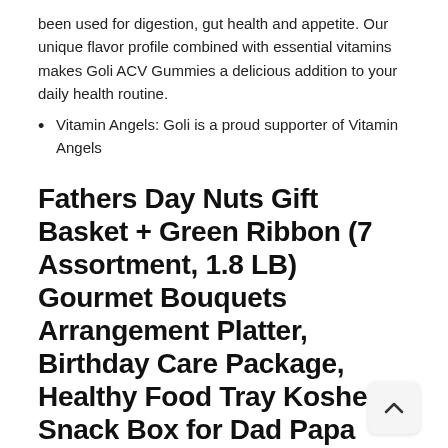been used for digestion, gut health and appetite. Our unique flavor profile combined with essential vitamins makes Goli ACV Gummies a delicious addition to your daily health routine.
Vitamin Angels: Goli is a proud supporter of Vitamin Angels
Fathers Day Nuts Gift Basket + Green Ribbon (7 Assortment, 1.8 LB) Gourmet Bouquets Arrangement Platter, Birthday Care Package, Healthy Food Tray Kosher Snack Box for Dad Papa Men Women Adults, Prime